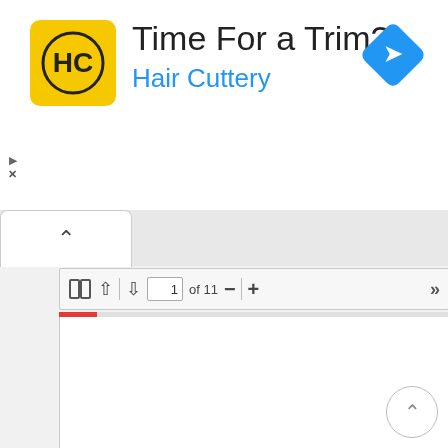[Figure (screenshot): Hair Cuttery advertisement banner with yellow logo showing 'HC', headline 'Time For a Trim?', blue brand name 'Hair Cuttery', and a blue navigation/directions diamond icon on the right. Small play and close (X) buttons on the left edge.]
[Figure (screenshot): Browser tab bar showing one active tab with an upward chevron (^) indicator.]
[Figure (screenshot): PDF viewer toolbar showing layout icon, up arrow, down arrow, page input field showing '1', 'of 11' text, minus button, plus button, and fast-forward button. Below the toolbar is a red progress bar and the top of a white PDF page area.]